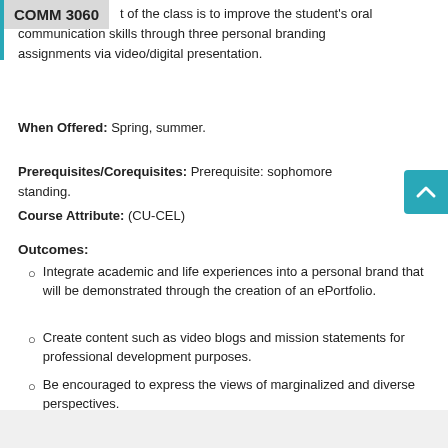COMM 3060 t of the class is to improve the student's oral communication skills through three personal branding assignments via video/digital presentation.
When Offered: Spring, summer.
Prerequisites/Corequisites: Prerequisite: sophomore standing.
Course Attribute: (CU-CEL)
Outcomes:
Integrate academic and life experiences into a personal brand that will be demonstrated through the creation of an ePortfolio.
Create content such as video blogs and mission statements for professional development purposes.
Be encouraged to express the views of marginalized and diverse perspectives.
Work both individually and in collaboration.
View Enrollment Information